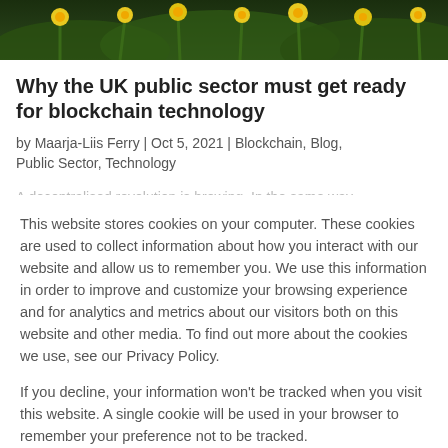[Figure (photo): Photograph of yellow flowers (daffodils) with green foliage in background, cropped to show top portion]
Why the UK public sector must get ready for blockchain technology
by Maarja-Liis Ferry | Oct 5, 2021 | Blockchain, Blog, Public Sector, Technology
A decentralised revolution is brewing. In the same way...
This website stores cookies on your computer. These cookies are used to collect information about how you interact with our website and allow us to remember you. We use this information in order to improve and customize your browsing experience and for analytics and metrics about our visitors both on this website and other media. To find out more about the cookies we use, see our Privacy Policy.
If you decline, your information won't be tracked when you visit this website. A single cookie will be used in your browser to remember your preference not to be tracked.